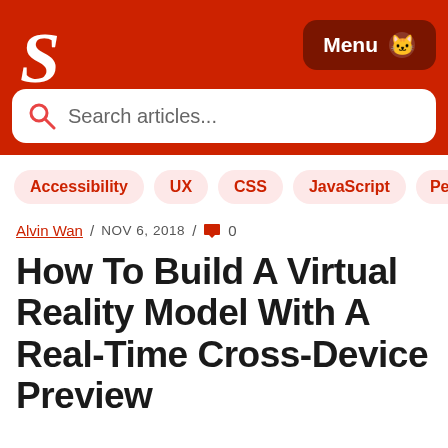[Figure (logo): Smashing Magazine logo - white stylized S letter on red background]
Menu
Search articles...
Accessibility
UX
CSS
JavaScript
Perfor
Alvin Wan / NOV 6, 2018 / 0
How To Build A Virtual Reality Model With A Real-Time Cross-Device Preview